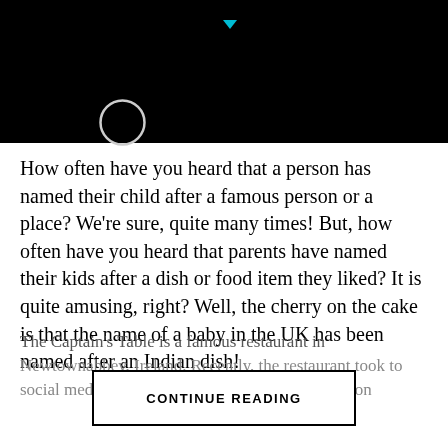[Figure (screenshot): Black header bar with a circular loading/camera icon outline on the left and a small cyan triangle/arrow icon at the top center]
How often have you heard that a person has named their child after a famous person or a place? We're sure, quite many times! But, how often have you heard that parents have named their kids after a dish or food item they liked? It is quite amusing, right? Well, the cherry on the cake is that the name of a baby in the UK has been named after an Indian dish!
The Captain's Table is a famous restaurant in Newtownabbey, Ireland. Recently, the restaurant took to social media to share rather heart-warming news on
CONTINUE READING